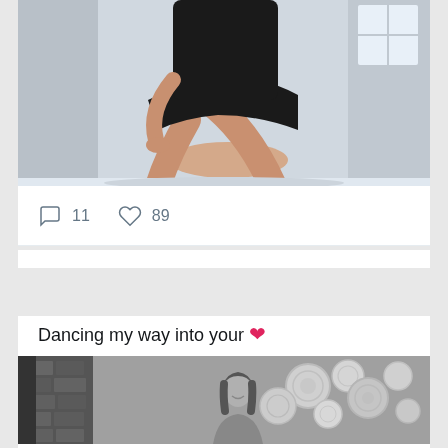[Figure (photo): Cropped photo of a person in a black dress seated, showing legs, light background]
11   89
Hannah McKnight @HannahTGirlMN · Aug 26
Dancing my way into your ❤
[Figure (photo): Black and white photo of a person smiling, with decorative circular wall art and brick wall in background]
action bar (partially visible)